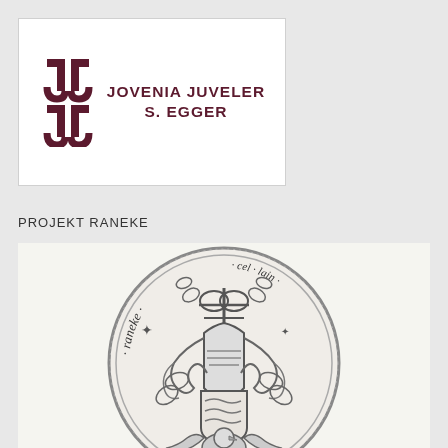[Figure (logo): Jovenia Juveler S. Egger logo with stylized JJ monogram in dark red/maroon and company name text]
PROJEKT RANEKE
[Figure (illustration): Detailed pencil drawing of a medieval-style coin or seal featuring a knight's helmet with heraldic decorations, oak leaves, a shield with wavy lines, an eagle, and text reading 'raneke' around the border in Gothic script]